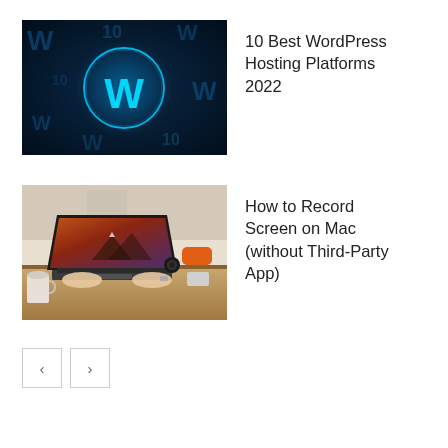[Figure (photo): WordPress logo glowing on a dark blue digital background with binary/code elements]
10 Best WordPress Hosting Platforms 2022
[Figure (photo): Person typing on a MacBook laptop on a wooden desk with headphones, camera and a smartphone nearby]
How to Record Screen on Mac (without Third-Party App)